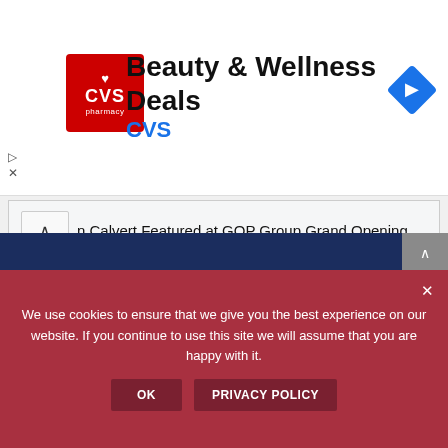[Figure (logo): CVS Pharmacy advertisement banner with red CVS logo, text 'Beauty & Wellness Deals' and 'CVS', and a blue navigation diamond icon]
en Calvert Featured at GOP Group Grand Opening
Candidate Rejects Code of Fair Campaign Practices
September is Hunger Action Month
Grace Garner Receives PSPOA Endorsement
We use cookies to ensure that we give you the best experience on our website. If you continue to use this site we will assume that you are happy with it.
OK  PRIVACY POLICY